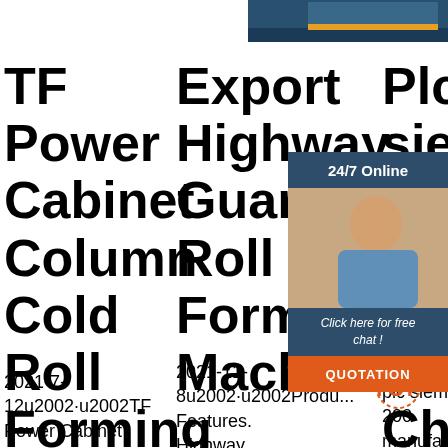[Figure (photo): Header image strip - dark blue/navy colored banner at top right]
TF Power Cabinet Column Cold Roll Forming Production Line
2021-7-12u2002·u2002TF Power Cabinet
Export Highway Guardrails Roll Forming Machine
2021-11-8u2002·u2002Produ... Features. Highway guardrail roll forming machine
Plc siemens s7 Ma & Su Ch plc ...
[Figure (photo): Customer service representative with headset, 24/7 Online chat widget overlay with orange QUOTATION button]
plc siemens s7 200 manufacturer/supplier China plc
[Figure (logo): TOP badge with orange dotted ring and orange bold TOP text]